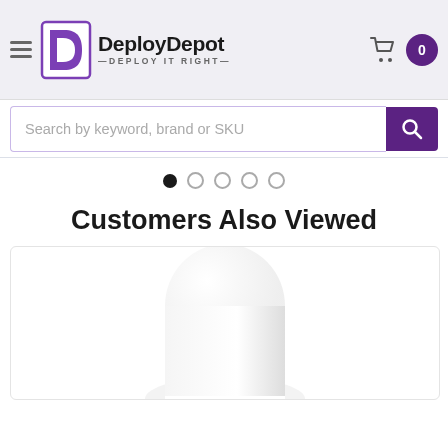[Figure (logo): DeployDepot logo with purple stylized D icon and text 'DeployDepot — DEPLOY IT RIGHT —']
[Figure (screenshot): Website header with hamburger menu, DeployDepot logo, shopping cart icon, and cart badge showing 0]
[Figure (screenshot): Search bar with placeholder text 'Search by keyword, brand or SKU' and purple search button]
[Figure (other): Carousel dot indicators: one filled dot and four empty dots]
Customers Also Viewed
[Figure (photo): Product image showing a white rounded cylindrical device on white background inside a bordered card]